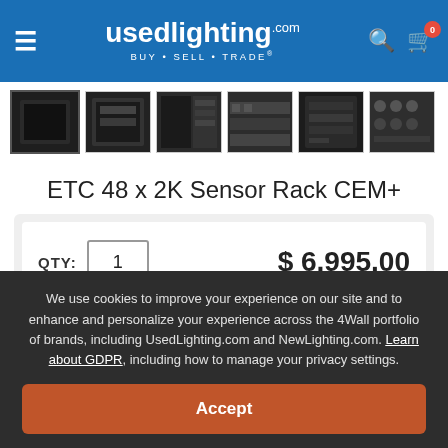usedlighting.com BUY · SELL · TRADE
[Figure (screenshot): Product thumbnail images showing ETC sensor rack from multiple angles — 6 dark-colored equipment cabinet photos in a horizontal strip]
ETC 48 x 2K Sensor Rack CEM+
QTY: 1   $ 6,995.00
We use cookies to improve your experience on our site and to enhance and personalize your experience across the 4Wall portfolio of brands, including UsedLighting.com and NewLighting.com. Learn about GDPR, including how to manage your privacy settings.
Accept